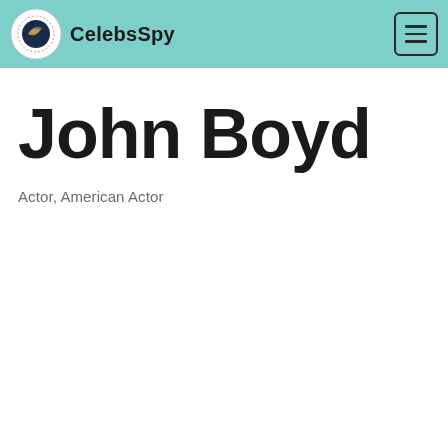CelebsSpy
John Boyd
Actor, American Actor